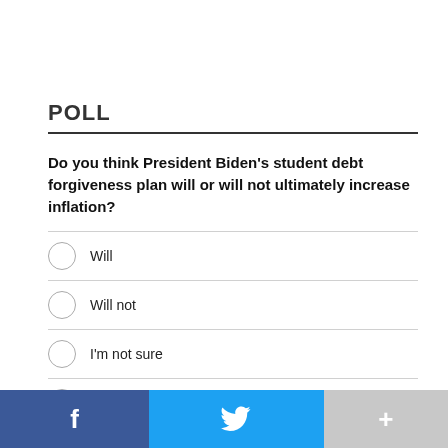POLL
Do you think President Biden's student debt forgiveness plan will or will not ultimately increase inflation?
Will
Will not
I'm not sure
Other / No opinion